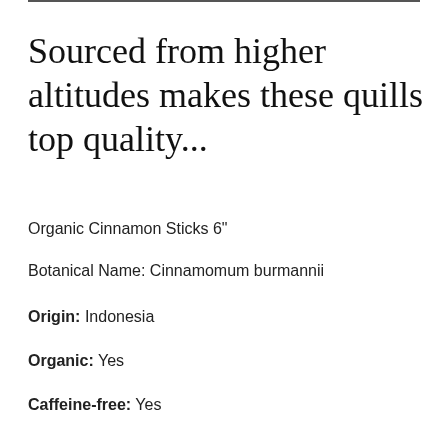Sourced from higher altitudes makes these quills top quality...
Organic Cinnamon Sticks 6"
Botanical Name: Cinnamomum burmannii
Origin: Indonesia
Organic: Yes
Caffeine-free: Yes